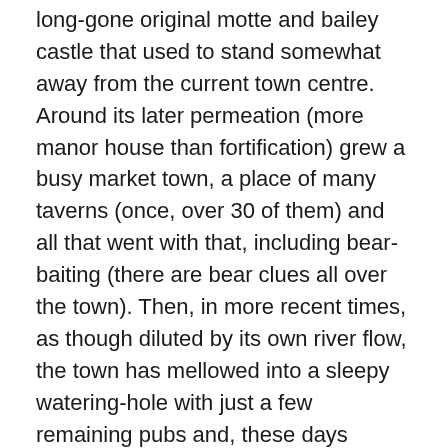long-gone original motte and bailey castle that used to stand somewhat away from the current town centre. Around its later permeation (more manor house than fortification) grew a busy market town, a place of many taverns (once, over 30 of them) and all that went with that, including bear-baiting (there are bear clues all over the town). Then, in more recent times, as though diluted by its own river flow, the town has mellowed into a sleepy watering-hole with just a few remaining pubs and, these days (here's for a switch-around), 30 or so bookshops; it plays host to the annual literary festival and a steady trickle of bookish visitors, growing into a high-water floodtide of them once a year when the festival is actually running. When I recall that first visit, back in 1988 (ironically, the very birth-year of that now famous literary festival) it was the valley, more than the town itself, that left a lasting imprint of a glistening yellow landscape; the town